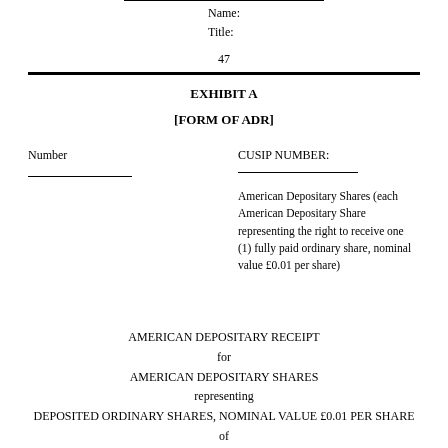Name:
Title:
47
EXHIBIT A
[FORM OF ADR]
Number
CUSIP NUMBER:
American Depositary Shares (each American Depositary Share representing the right to receive one (1) fully paid ordinary share, nominal value £0.01 per share)
AMERICAN DEPOSITARY RECEIPT
for
AMERICAN DEPOSITARY SHARES
representing
DEPOSITED ORDINARY SHARES, NOMINAL VALUE £0.01 PER SHARE
of
NUCANA PLC